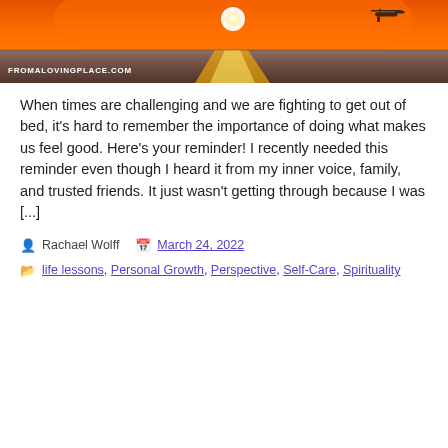[Figure (photo): Sunset over ocean with orange sky and sun reflection on water; helicopter silhouette in upper right. Text overlay reads FROMALOVINGPLACE.COM in white at lower left.]
When times are challenging and we are fighting to get out of bed, it's hard to remember the importance of doing what makes us feel good. Here's your reminder! I recently needed this reminder even though I heard it from my inner voice, family, and trusted friends. It just wasn't getting through because I was [...]
Rachael Wolff    March 24, 2022
life lessons, Personal Growth, Perspective, Self-Care, Spirituality